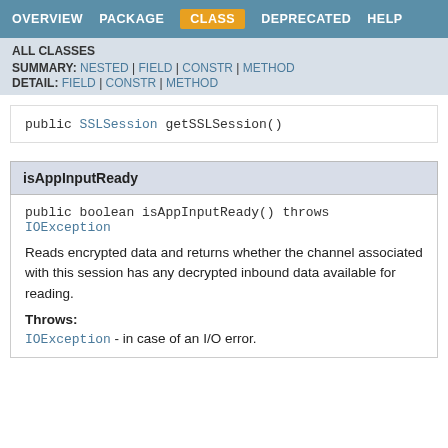OVERVIEW  PACKAGE  CLASS  DEPRECATED  HELP
ALL CLASSES
SUMMARY: NESTED | FIELD | CONSTR | METHOD
DETAIL: FIELD | CONSTR | METHOD
public SSLSession getSSLSession()
isAppInputReady
public boolean isAppInputReady() throws
IOException
Reads encrypted data and returns whether the channel associated with this session has any decrypted inbound data available for reading.
Throws:
IOException - in case of an I/O error.